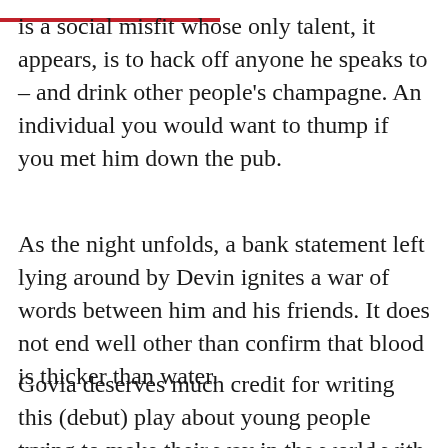is a social misfit whose only talent, it appears, is to hack off anyone he speaks to – and drink other people's champagne. An individual you would want to thump if you met him down the pub.
As the night unfolds, a bank statement left lying around by Devin ignites a war of words between him and his friends. It does not end well other than confirm that blood is thicker than water.
Govia deserves much credit for writing this (debut) play about young people trying to make their way in the world with varying